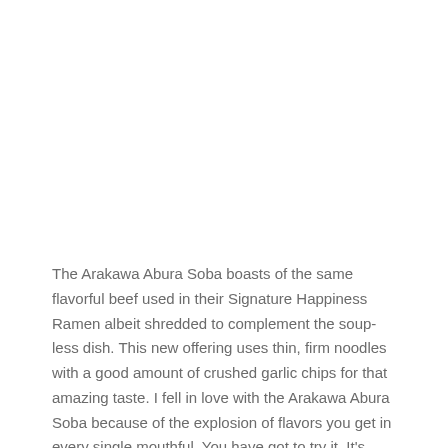The Arakawa Abura Soba boasts of the same flavorful beef used in their Signature Happiness Ramen albeit shredded to complement the soup-less dish. This new offering uses thin, firm noodles with a good amount of crushed garlic chips for that amazing taste. I fell in love with the Arakawa Abura Soba because of the explosion of flavors you get in every single mouthful. You have got to try it. It's really good.